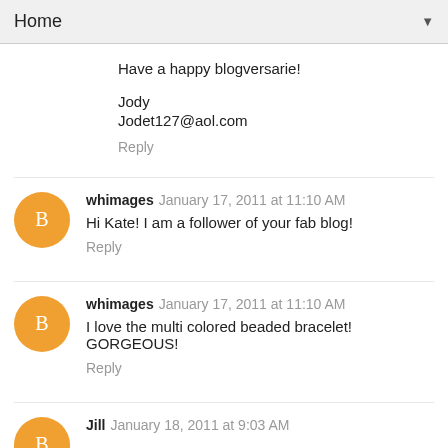Home
Have a happy blogversarie!

Jody
Jodet127@aol.com
Reply
whimages  January 17, 2011 at 11:10 AM
Hi Kate! I am a follower of your fab blog!
Reply
whimages  January 17, 2011 at 11:10 AM
I love the multi colored beaded bracelet! GORGEOUS!
Reply
Jill  January 18, 2011 at 9:03 AM